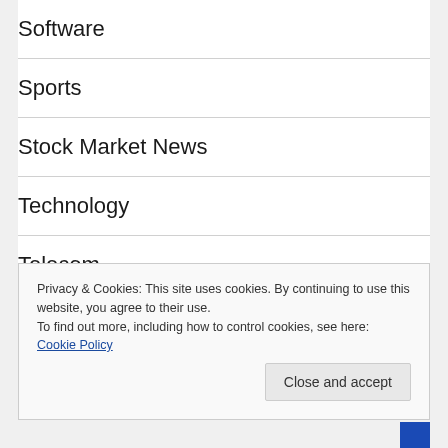Software
Sports
Stock Market News
Technology
Telecom
Transportation & Logistics
Privacy & Cookies: This site uses cookies. By continuing to use this website, you agree to their use.
To find out more, including how to control cookies, see here: Cookie Policy